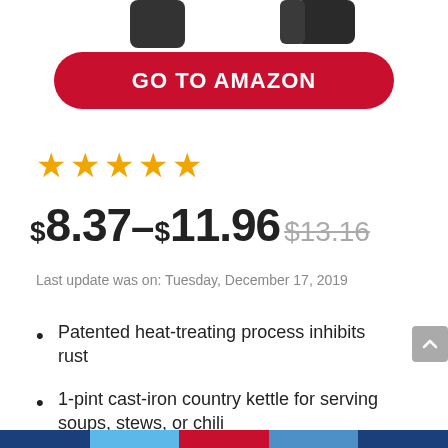[Figure (photo): Partial view of a cast-iron kettle product image at the top of the page]
GO TO AMAZON
★★★★★
$8.37–$11.96 $13.16
Last update was on: Tuesday, December 17, 2019
Patented heat-treating process inhibits rust
1-pint cast-iron country kettle for serving soups, stews, or chili
Cast-iron construction keeps foods warm for long periods